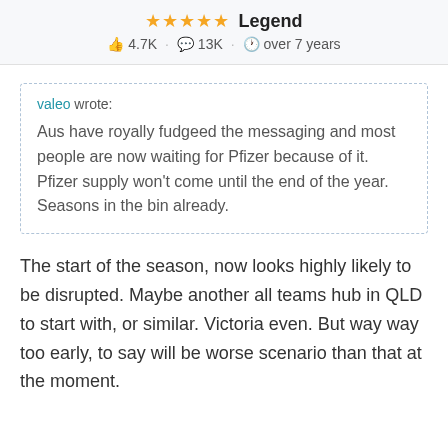★★★★★ Legend · 👍 4.7K · 💬 13K · 🕐 over 7 years
valeo wrote:
Aus have royally fudgeed the messaging and most people are now waiting for Pfizer because of it. Pfizer supply won't come until the end of the year. Seasons in the bin already.
The start of the season, now looks highly likely to be disrupted. Maybe another all teams hub in QLD to start with, or similar. Victoria even. But way way too early, to say will be worse scenario than that at the moment.